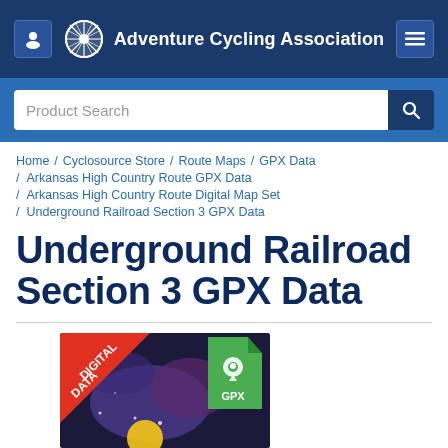Adventure Cycling Association
Product Search
Home / Cyclosource Store / Route Maps / GPX Data / Arkansas High Country Route GPX Data / Arkansas High Country Route Digital Map Set / Underground Railroad Section 3 GPX Data
Underground Railroad Section 3 GPX Data
[Figure (photo): Product image showing a digital data badge with red diagonal banner reading DIGITAL DATA, and a GPX file icon in green, overlaid on a dark map background]